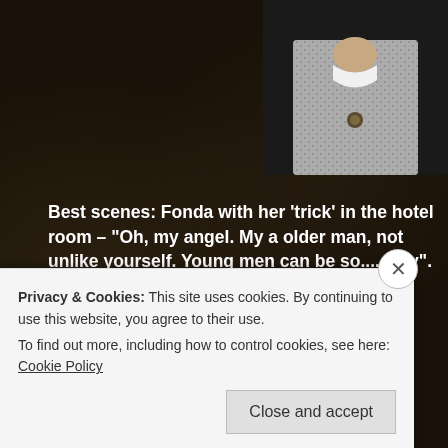[Figure (photo): Partial photo of a person in a patterned jacket, visible from shoulder/chest area, top-right corner of page]
Best scenes: Fonda with her 'trick' in the hotel room – "Oh, my angel. My a older man, not unlike yourself. Young men can be so.....silly".
http://www.youtube.com/watch?v=EbWNI5_JT7k
http://www.youtube.com/watch?v=9FgAW344s5w
Privacy & Cookies: This site uses cookies. By continuing to use this website, you agree to their use.
To find out more, including how to control cookies, see here: Cookie Policy
Close and accept